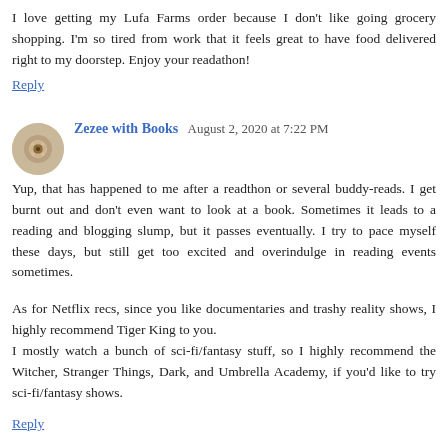I love getting my Lufa Farms order because I don't like going grocery shopping. I'm so tired from work that it feels great to have food delivered right to my doorstep. Enjoy your readathon!
Reply
Zezee with Books  August 2, 2020 at 7:22 PM
Yup, that has happened to me after a readthon or several buddy-reads. I get burnt out and don't even want to look at a book. Sometimes it leads to a reading and blogging slump, but it passes eventually. I try to pace myself these days, but still get too excited and overindulge in reading events sometimes.
As for Netflix recs, since you like documentaries and trashy reality shows, I highly recommend Tiger King to you. I mostly watch a bunch of sci-fi/fantasy stuff, so I highly recommend the Witcher, Stranger Things, Dark, and Umbrella Academy, if you'd like to try sci-fi/fantasy shows.
Reply